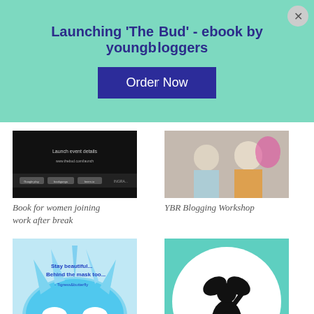Launching 'The Bud' - ebook by youngbloggers
Order Now
[Figure (screenshot): Dark screenshot with text and app store badges — Book for women joining work after break]
Book for women joining work after break
[Figure (photo): YBR Blogging Workshop — group of people at a workshop]
YBR Blogging Workshop
[Figure (photo): Decorative blue glitter mask with text: Stay beautiful... Behind the mask too... - Tigress&butterfly]
Be the Real You
[Figure (illustration): Cheers! Tigress&Butterfly — silhouette of a figure on a teal circular background]
Cheers! Tigress&Butterfly